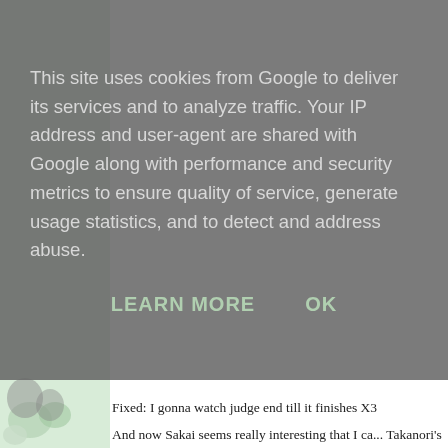This site uses cookies from Google to deliver its services and to analyze traffic. Your IP address and user-agent are shared with Google along with performance and security metrics to ensure quality of service, generate usage statistics, and to detect and address abuse.
LEARN MORE    OK
Fixed: I gonna watch judge end till it finishes X3
And now Sakai seems really interesting that I ca... Takanori's voice ♡I♡)! Till now still wondering about him with spear (and i was like "please no more spear... "Shinjiru!" X3
This guy will make some cute appearance in the anin...
I have no complaints about Yoshitsugu's sly tactics...
At least mago still have some role in the first episode...
Masamune's fight against Mitsu at odawara always again-, THE POSTER BOY LOST YAY! *here's appearance in 3*)

then again, i hope that there will be a Sekigahara Du...
Because DateSana needs companies x3